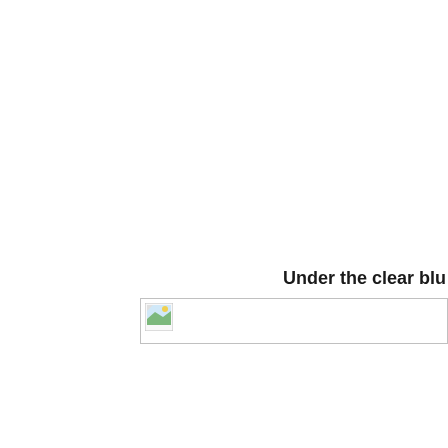Under the clear blu
[Figure (photo): A broken/missing image placeholder icon with a small landscape thumbnail in the top-left corner, shown as a bordered rectangle spanning the width of the page]